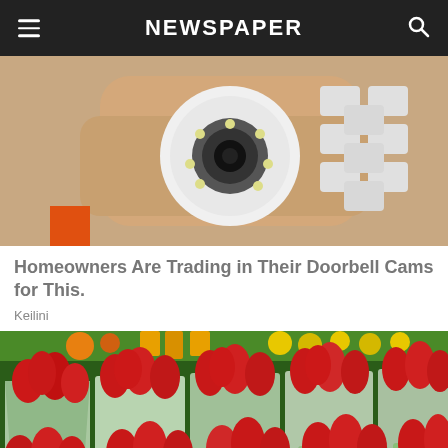NEWSPAPER
[Figure (photo): A hand holding a small white circular security camera with LED lights around the lens, with white product boxes visible in the background.]
Homeowners Are Trading in Their Doorbell Cams for This.
Keilini
[Figure (photo): A farmer's market display of multiple pint containers filled with fresh red strawberries, with other fruits visible in the background.]